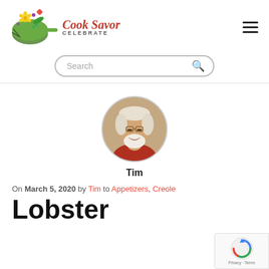Cook Savor CELEBRATE
[Figure (logo): Cook Savor Celebrate logo with illustrated frying pan and colorful ingredients]
[Figure (photo): Circular portrait photo of Tim, an older man with white beard and glasses, smiling]
Tim
On March 5, 2020 by Tim to Appetizers, Creole
Lobster Thermidor